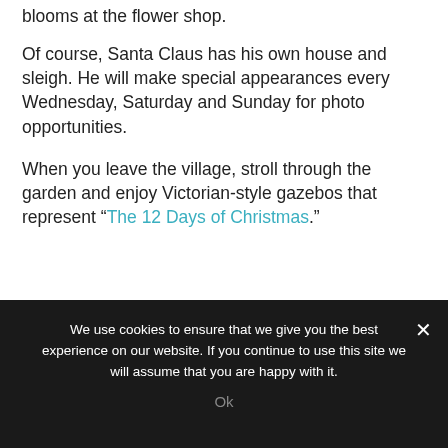blooms at the flower shop.
Of course, Santa Claus has his own house and sleigh. He will make special appearances every Wednesday, Saturday and Sunday for photo opportunities.
When you leave the village, stroll through the garden and enjoy Victorian-style gazebos that represent “The 12 Days of Christmas.”
Join Our Newsletter
We use cookies to ensure that we give you the best experience on our website. If you continue to use this site we will assume that you are happy with it.
Ok